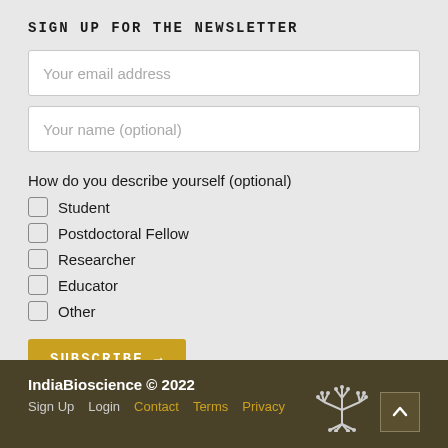SIGN UP FOR THE NEWSLETTER
Your email address
Your name (optional)
How do you describe yourself (optional)
Student
Postdoctoral Fellow
Researcher
Educator
Other
SUBSCRIBE →
IndiaBioscience © 2022
Sign Up   Login   Contact   Terms   Privacy